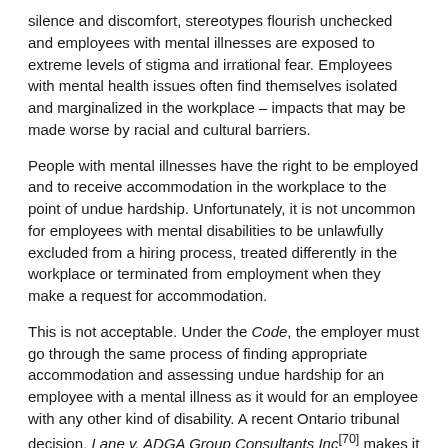silence and discomfort, stereotypes flourish unchecked and employees with mental illnesses are exposed to extreme levels of stigma and irrational fear. Employees with mental health issues often find themselves isolated and marginalized in the workplace – impacts that may be made worse by racial and cultural barriers.
People with mental illnesses have the right to be employed and to receive accommodation in the workplace to the point of undue hardship. Unfortunately, it is not uncommon for employees with mental disabilities to be unlawfully excluded from a hiring process, treated differently in the workplace or terminated from employment when they make a request for accommodation.
This is not acceptable. Under the Code, the employer must go through the same process of finding appropriate accommodation and assessing undue hardship for an employee with a mental illness as it would for an employee with any other kind of disability. A recent Ontario tribunal decision, Lane v. ADGA Group Consultants Inc[70] makes it clear that employers who do not properly accommodate the needs of employees with mental illness contravene the Code and are liable for significant damages.
i) Case Study – How not to treat an employee with a mental illness: